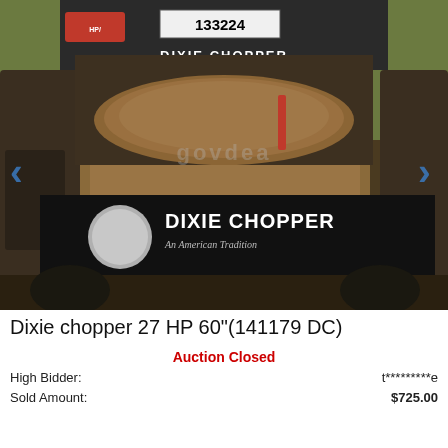[Figure (photo): Photograph of a Dixie Chopper 27 HP 60-inch riding lawn mower/zero-turn mower covered in pine needles/debris. The mower has a black deck with the Dixie Chopper logo and 'An American Tradition' slogan. Item number 133224 is visible on a white label at the top. GovDeals watermark is visible. Navigation arrows appear on left and right sides.]
Dixie chopper 27 HP 60"(141179 DC)
Auction Closed
High Bidder:    t*********e
Sold Amount:    $725.00